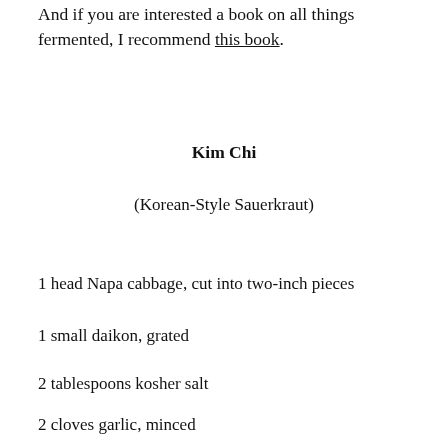And if you are interested a book on all things fermented, I recommend this book.
Kim Chi
(Korean-Style Sauerkraut)
1 head Napa cabbage, cut into two-inch pieces
1 small daikon, grated
2 tablespoons kosher salt
2 cloves garlic, minced
1 small piece ginger, minced